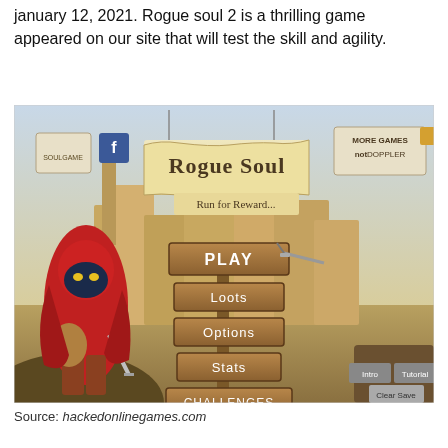january 12, 2021. Rogue soul 2 is a thrilling game appeared on our site that will test the skill and agility.
[Figure (screenshot): Screenshot of the Rogue Soul 2 game main menu screen showing the title banner 'Rogue Soul - Run for Reward...' with menu options: PLAY, Loots, Options, Stats, Challenges, and a red-cloaked character on the left side. Also shows SoulGame and Facebook icons, and 'MORE GAMES notDOPPLER' text in top right.]
Source: hackedonlinegames.com